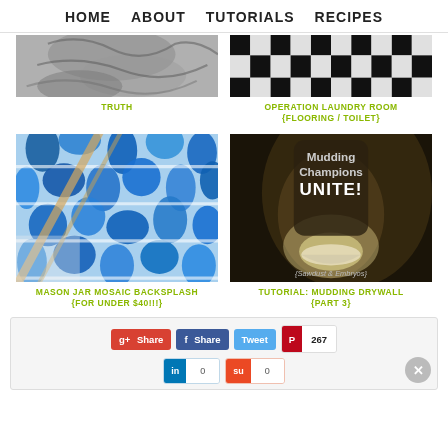HOME   ABOUT   TUTORIALS   RECIPES
[Figure (photo): Partial top of image showing grayscale knitting or fabric texture - TRUTH]
TRUTH
[Figure (photo): Black and white checkerboard floor pattern - OPERATION LAUNDRY ROOM {FLOORING / TOILET}]
OPERATION LAUNDRY ROOM {FLOORING / TOILET}
[Figure (photo): Blue mosaic tile backsplash with white grout - MASON JAR MOSAIC BACKSPLASH {FOR UNDER $40!!}]
MASON JAR MOSAIC BACKSPLASH {FOR UNDER $40!!)}
[Figure (photo): Person holding a bowl with text Mudding Champions UNITE! - TUTORIAL: MUDDING DRYWALL {PART 3}]
TUTORIAL: MUDDING DRYWALL {PART 3}
g+ Share   Share   Tweet   267   in 0   0